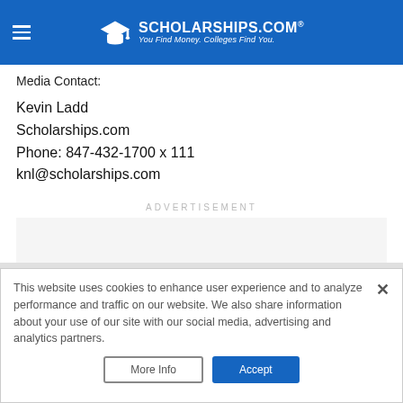[Figure (logo): Scholarships.com logo with graduation cap icon and tagline 'You Find Money. Colleges Find You.' on blue header bar]
Media Contact:
Kevin Ladd
Scholarships.com
Phone: 847-432-1700 x 111
knl@scholarships.com
ADVERTISEMENT
This website uses cookies to enhance user experience and to analyze performance and traffic on our website. We also share information about your use of our site with our social media, advertising and analytics partners.